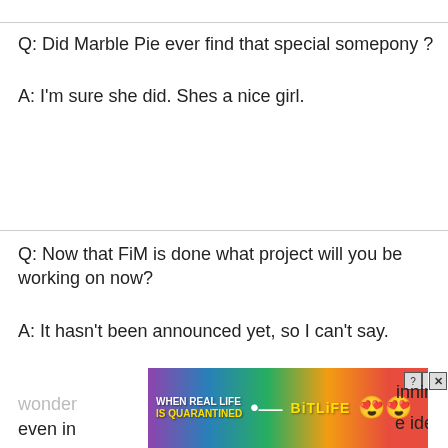Q: Did Marble Pie ever find that special somepony ?
A: I'm sure she did. Shes a nice girl.
Q: Now that FiM is done what project will you be working on now?
A: It hasn't been announced yet, so I can't say.
Q: A lot of people, myself included, thought that the show could only end with a song, and I'm glad you did it. I'm wondering if the finale song is one of the best the show has ever done, even in your idea
[Figure (screenshot): Advertisement banner for BitLife game with rainbow gradient background, text 'WHEN REAL LIFE IS QUARANTINED' and 'BiTLiFE' with emoji icons]